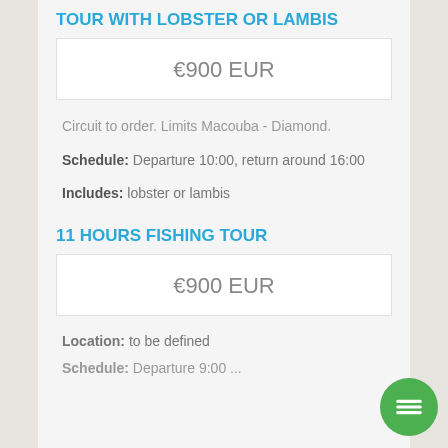TOUR WITH LOBSTER OR LAMBIS
€900 EUR
Circuit to order. Limits Macouba - Diamond.
Schedule: Departure 10:00, return around 16:00
Includes: lobster or lambis
11 HOURS FISHING TOUR
€900 EUR
Location: to be defined
Schedule: Departure 9:00 ... return around 17:00